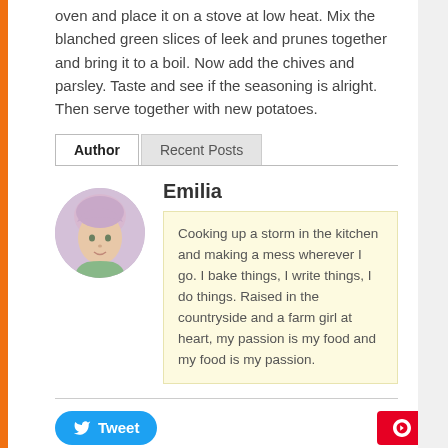oven and place it on a stove at low heat. Mix the blanched green slices of leek and prunes together and bring it to a boil. Now add the chives and parsley. Taste and see if the seasoning is alright. Then serve together with new potatoes.
Author | Recent Posts
[Figure (photo): Circular portrait photo of Emilia, a young woman with short light pink/blonde hair]
Emilia
Cooking up a storm in the kitchen and making a mess wherever I go. I bake things, I write things, I do things. Raised in the countryside and a farm girl at heart, my passion is my food and my food is my passion.
Tweet | Save